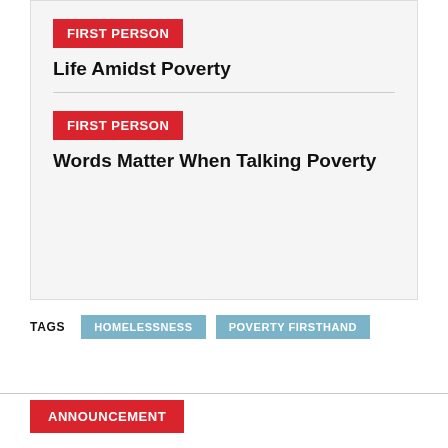FIRST PERSON
Life Amidst Poverty
FIRST PERSON
Words Matter When Talking Poverty
TAGS  HOMELESSNESS  POVERTY FIRSTHAND
ANNOUNCEMENT